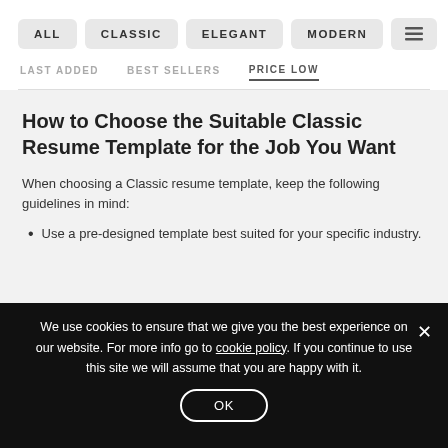ALL | CLASSIC | ELEGANT | MODERN | (menu icon)
LAST ADDED   BEST SELLERS   PRICE LOW
How to Choose the Suitable Classic Resume Template for the Job You Want
When choosing a Classic resume template, keep the following guidelines in mind:
Use a pre-designed template best suited for your specific industry.
We use cookies to ensure that we give you the best experience on our website. For more info go to cookie policy. If you continue to use this site we will assume that you are happy with it. OK